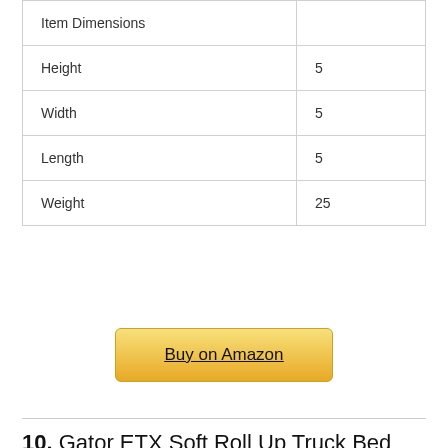| Item Dimensions |  |
| Height | 5 |
| Width | 5 |
| Length | 5 |
| Weight | 25 |
Buy on Amazon
10. Gator ETX Soft Roll Up Truck Bed Tonneau Cover | 1385954 | Fits 2019 – 2022